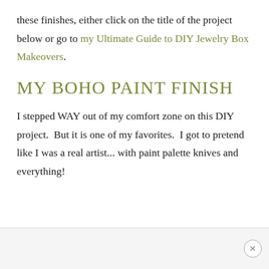these finishes, either click on the title of the project below or go to my Ultimate Guide to DIY Jewelry Box Makeovers.
MY BOHO PAINT FINISH
I stepped WAY out of my comfort zone on this DIY project.  But it is one of my favorites.  I got to pretend like I was a real artist... with paint palette knives and everything!